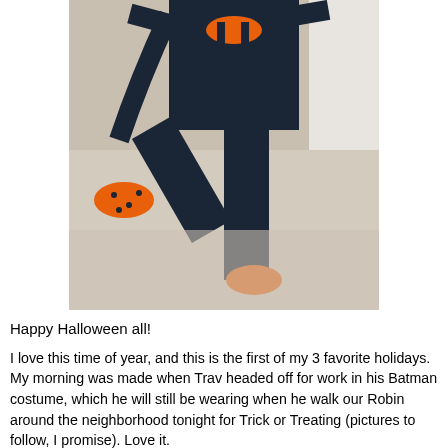[Figure (photo): Person wearing a dark navy/black Batman costume with orange accents, jumping or posing mid-air indoors. Orange socks/shoes visible on both feet. Background shows a light carpet and white wall.]
Happy Halloween all!
I love this time of year, and this is the first of my 3 favorite holidays. My morning was made when Trav headed off for work in his Batman costume, which he will still be wearing when he walk our Robin around the neighborhood tonight for Trick or Treating (pictures to follow, I promise). Love it.